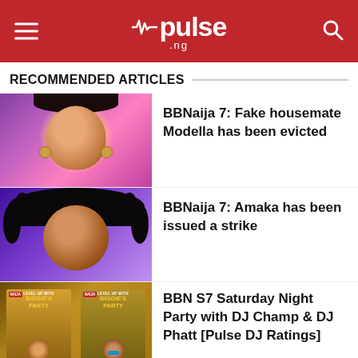pulse.ng
RECOMMENDED ARTICLES
[Figure (photo): Portrait of Modella, a young woman with earrings on a colorful background]
BBNaija 7: Fake housemate Modella has been evicted
[Figure (photo): Portrait of Amaka, a young woman with curly hair on a purple background]
BBNaija 7: Amaka has been issued a strike
[Figure (photo): BBN S7 Saturday Night Party promotional graphic with DJ Champ and DJ Phatt]
BBN S7 Saturday Night Party with DJ Champ & DJ Phatt [Pulse DJ Ratings]